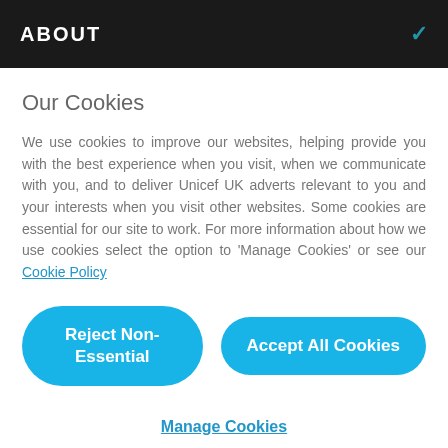ABOUT
Our Cookies
We use cookies to improve our websites, helping provide you with the best experience when you visit, when we communicate with you, and to deliver Unicef UK adverts relevant to you and your interests when you visit other websites. Some cookies are essential for our site to work. For more information about how we use cookies select the option to 'Manage Cookies' or see our Cookie Policy
Reject Non-Essential
Accept All Cookies
Manage Cookies